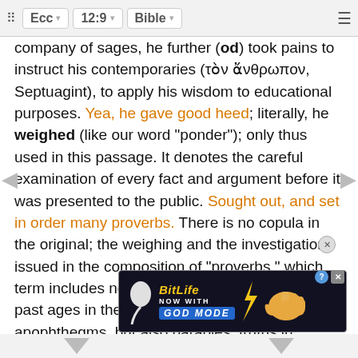Ecc  12:9  Bible
company of sages, he further (od) took pains to instruct his contemporaries (τὸν ἄνθρωπον, Septuagint), to apply his wisdom to educational purposes. Yea, he gave good heed; literally, he weighed (like our word "ponder"); only thus used in this passage. It denotes the careful examination of every fact and argument before it was presented to the public. Sought out, and set in order many proverbs. There is no copula in the original; the weighing and the investigation issued in the composition of "proverbs," which term includes not only the wit and wisdom of past ages in the form of pithy sayings and apophthegms, but also parables, truths in metaphorical guise, riddles, instructions, allegories, etc., all these forms which are found in the called (mish...k.
[Figure (screenshot): BitLife advertisement banner: NOW WITH GOD MODE, with sperm logo and pointing hand graphic]